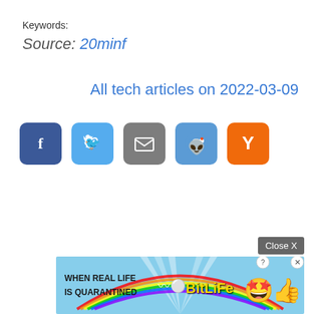Keywords:
Source: 20minf
All tech articles on 2022-03-09
[Figure (other): Social share buttons: Facebook (blue), Twitter (light blue), Email (gray), Reddit (blue), Hacker News Y (orange)]
Close X
[Figure (other): Advertisement banner for BitLife game: 'WHEN REAL LIFE IS QUARANTINED' with rainbow gradient, sperm emoji, BitLife logo in yellow, star-eyed emoji, thumbs up emoji]